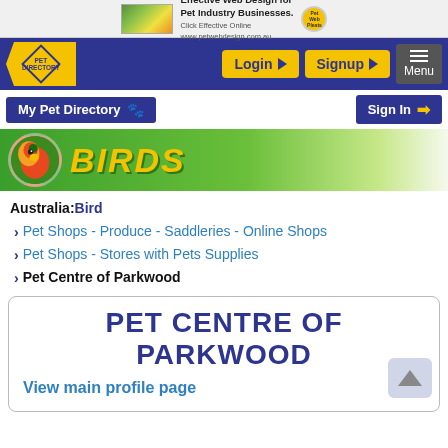[Figure (screenshot): Advertisement banner for web design services for pet industry businesses]
Pet Directory navigation bar with Login, Signup, and Menu buttons
My Pet Directory 🐾
Sign In →
[Figure (illustration): Birds section banner with parrot image and BIRDS text on green gradient background]
Australia: Bird
Pet Shops - Produce - Saddleries - Online Shops
Pet Shops - Stores with Pets Supplies
Pet Centre of Parkwood
PET CENTRE OF PARKWOOD
View main profile page